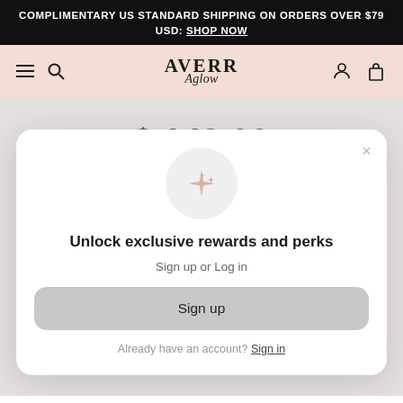COMPLIMENTARY US STANDARD SHIPPING ON ORDERS OVER $79 USD: SHOP NOW
[Figure (screenshot): Averr Aglow website navigation bar with hamburger menu, search icon, logo, account and cart icons on pink background]
$ 149.00
[Figure (other): Modal popup with sparkle icon, title 'Unlock exclusive rewards and perks', subtitle 'Sign up or Log in', Sign up button, and 'Already have an account? Sign in' link]